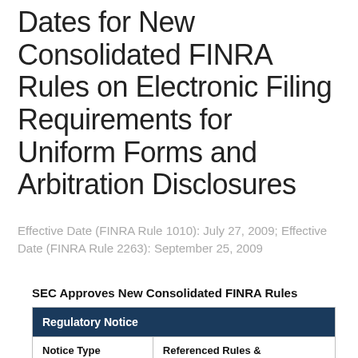Dates for New Consolidated FINRA Rules on Electronic Filing Requirements for Uniform Forms and Arbitration Disclosures
Effective Date (FINRA Rule 1010): July 27, 2009; Effective Date (FINRA Rule 2263): September 25, 2009
SEC Approves New Consolidated FINRA Rules
| Regulatory Notice |  |
| --- | --- |
| Notice Type | Referenced Rules & Notices |